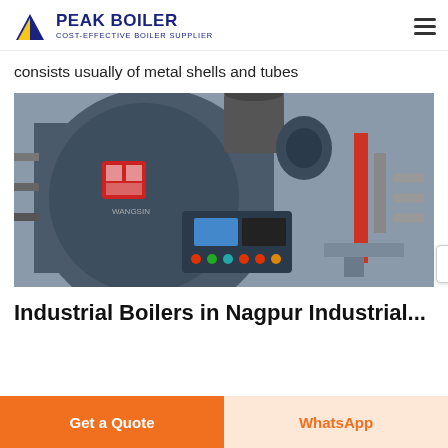PEAK BOILER - COST-EFFECTIVE BOILER SUPPLIER
consists usually of metal shells and tubes
[Figure (photo): Industrial boiler unit with control panel, buttons, display screen, and piping visible in an industrial facility setting]
Industrial Boilers in Nagpur Industrial...
Get a Quote | WhatsApp